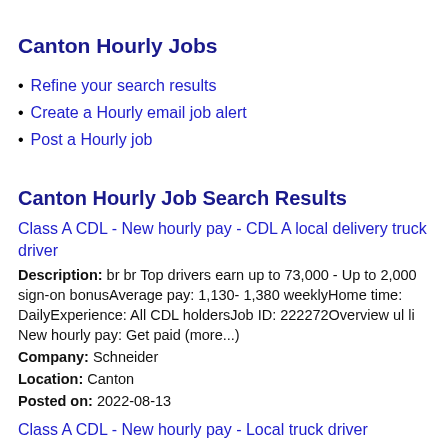Canton Hourly Jobs
Refine your search results
Create a Hourly email job alert
Post a Hourly job
Canton Hourly Job Search Results
Class A CDL - New hourly pay - CDL A local delivery truck driver
Description: br br Top drivers earn up to 73,000 - Up to 2,000 sign-on bonusAverage pay: 1,130- 1,380 weeklyHome time: DailyExperience: All CDL holdersJob ID: 222272Overview ul li New hourly pay: Get paid (more...)
Company: Schneider
Location: Canton
Posted on: 2022-08-13
Class A CDL - New hourly pay - Local truck driver